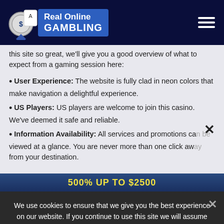[Figure (logo): Real Online Gambling website logo with casino chip icon and blue banner text]
this site so great, we'll give you a good overview of what to expect from a gaming session here:
User Experience: The website is fully clad in neon colors that make navigation a delightful experience.
US Players: US players are welcome to join this casino. We've deemed it safe and reliable.
Information Availability: All services and promotions can be viewed at a glance. You are never more than one click away from your destination.
500% UP TO $2500
We use cookies to ensure that we give you the best experience on our website. If you continue to use this site we will assume that you are happy with it.